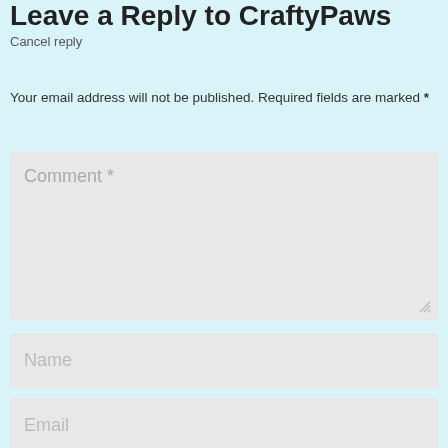Leave a Reply to CraftyPaws
Cancel reply
Your email address will not be published. Required fields are marked *
[Figure (screenshot): Comment text area input field with placeholder text 'Comment *' and a resize handle in the bottom-right corner]
[Figure (screenshot): Name input field with placeholder text 'Name']
[Figure (screenshot): Email input field with placeholder text 'Email']
[Figure (screenshot): Website input field with placeholder text 'Website' (partially visible)]